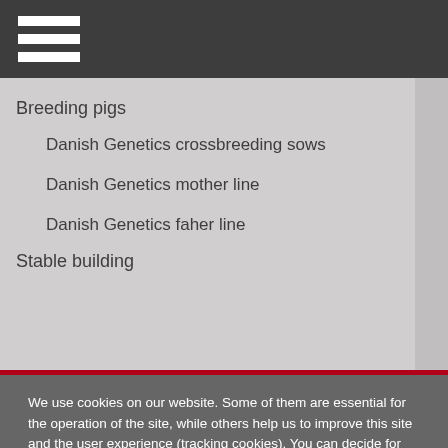Breeding pigs
Danish Genetics crossbreeding sows
Danish Genetics mother line
Danish Genetics faher line
Stable building
We use cookies on our website. Some of them are essential for the operation of the site, while others help us to improve this site and the user experience (tracking cookies). You can decide for yourself whether you want to allow cookies or not. Please note that if you reject them, you may not be able to use all the functionalities of the site.
Ok
Decline
More information
Imprint